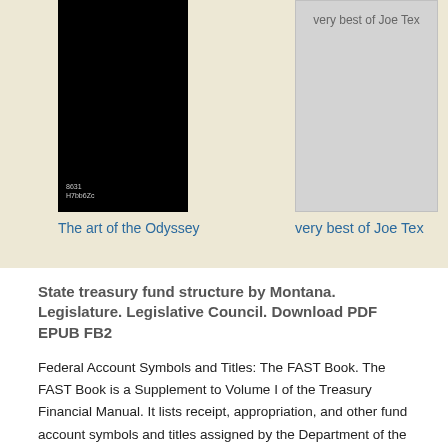[Figure (photo): Black book cover with small white text showing code '8631 H7bb6Zc']
[Figure (photo): Gray/light book cover with text 'very best of Joe Tex' at top]
The art of the Odyssey
very best of Joe Tex
State treasury fund structure by Montana. Legislature. Legislative Council. Download PDF EPUB FB2
Federal Account Symbols and Titles: The FAST Book. The FAST Book is a Supplement to Volume I of the Treasury Financial Manual. It lists receipt, appropriation, and other fund account symbols and titles assigned by the Department of the Treasury. The FAST Book is now